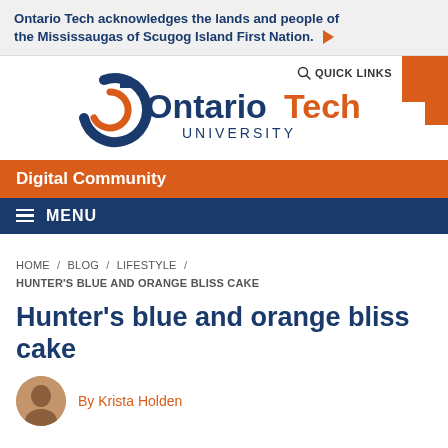Ontario Tech acknowledges the lands and people of the Mississaugas of Scugog Island First Nation.
[Figure (logo): Ontario Tech University logo with shield and wordmark]
Digital Community
MENU
HOME / BLOG / LIFESTYLE / HUNTER'S BLUE AND ORANGE BLISS CAKE
Hunter's blue and orange bliss cake
By Krista Holden